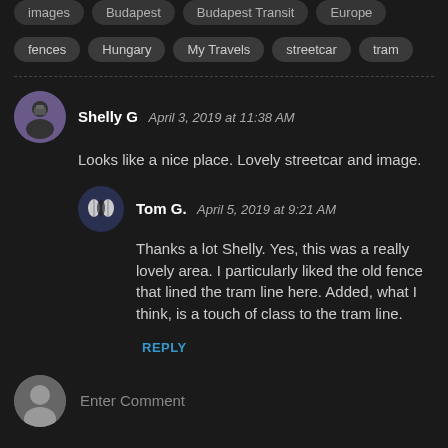images  Budapest  Budapest Transit  Europe
fences  Hungary  My Travels  streetcar  tram
Shelly G  April 3, 2019 at 11:38 AM
Looks like a nice place. Lovely streetcar and image.
Tom G.  April 5, 2019 at 9:21 AM
Thanks a lot Shelly. Yes, this was a really lovely area. I particularly liked the old fence that lined the tram line here. Added, what I think, is a touch of class to the tram line.
REPLY
Enter Comment